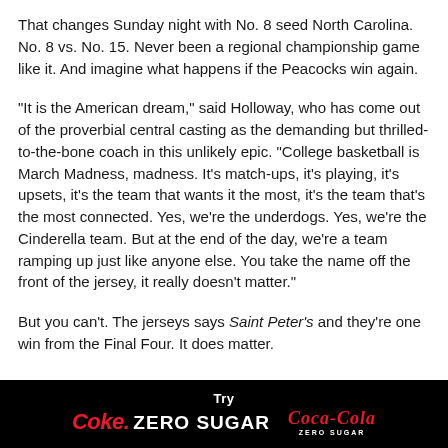That changes Sunday night with No. 8 seed North Carolina. No. 8 vs. No. 15. Never been a regional championship game like it. And imagine what happens if the Peacocks win again.
“It is the American dream,” said Holloway, who has come out of the proverbial central casting as the demanding but thrilled-to-the-bone coach in this unlikely epic. “College basketball is March Madness, madness. It’s match-ups, it’s playing, it’s upsets, it’s the team that wants it the most, it’s the team that’s the most connected. Yes, we’re the underdogs. Yes, we’re the Cinderella team. But at the end of the day, we’re a team ramping up just like anyone else. You take the name off the front of the jersey, it really doesn’t matter.”
But you can’t. The jerseys says Saint Peter’s and they’re one win from the Final Four. It does matter.
[Figure (infographic): Coke Zero Sugar advertisement banner: black background with 'Try' in white, 'Coke. ZERO SUGAR' in red and white bold text, and Coca-Cola Zero Sugar logo on the right.]